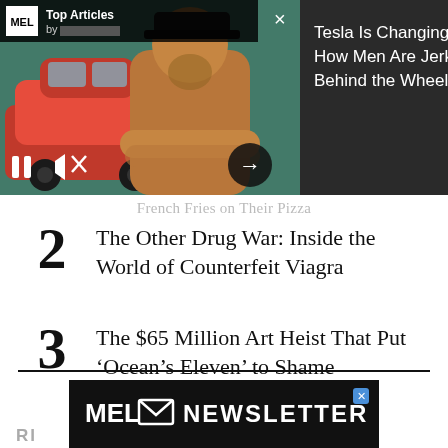[Figure (screenshot): Video player overlay showing a man with crossed arms standing in front of a red Tesla car. Top bar shows MEL Top Articles. Right side shows dark panel with text 'Tesla Is Changing How Men Are Jerks Behind the Wheel'. Controls visible at bottom left. Arrow button at bottom right. Close X button at top.]
French Fries on Their Pizza
2 The Other Drug War: Inside the World of Counterfeit Viagra
3 The $65 Million Art Heist That Put ‘Ocean’s Eleven’ to Shame
[Figure (screenshot): MEL Newsletter banner advertisement with envelope icon and text MEL NEWSLETTER on black background, with small X close button]